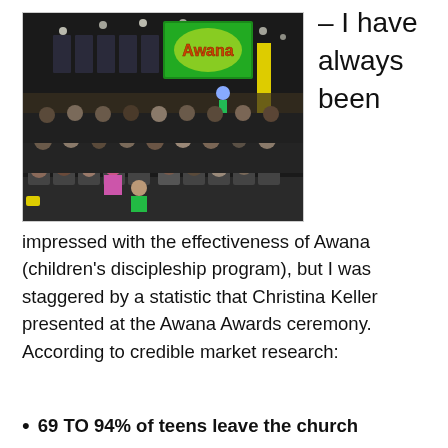[Figure (photo): A large auditorium filled with attendees seated in rows of chairs, facing a stage with a screen displaying the Awana logo and a presenter on stage.]
– I have always been
impressed with the effectiveness of Awana (children's discipleship program), but I was staggered by a statistic that Christina Keller presented at the Awana Awards ceremony. According to credible market research:
69 TO 94% of teens leave the church